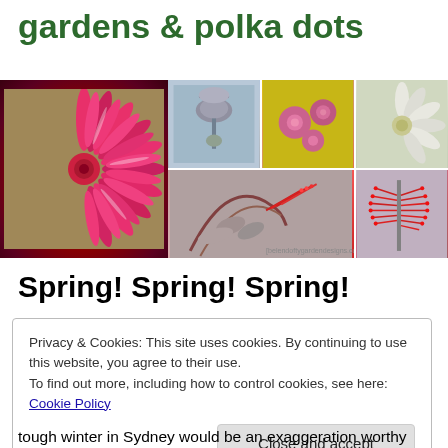gardens & polka dots
[Figure (photo): Collage of Australian native flowers including a large pink straw flower/everlasting daisy on the left, and smaller photos of seed pods, purple flowers, flannel flowers, red grevillea, and bottlebrush flowers]
Spring! Spring! Spring!
Privacy & Cookies: This site uses cookies. By continuing to use this website, you agree to their use.
To find out more, including how to control cookies, see here: Cookie Policy
Close and accept
tough winter in Sydney would be an exaggeration worthy